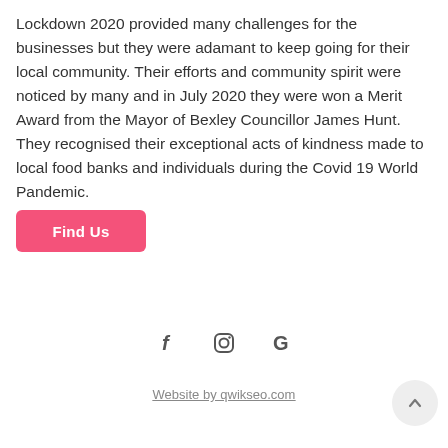Lockdown 2020 provided many challenges for the businesses but they were adamant to keep going for their local community. Their efforts and community spirit were noticed by many and in July 2020 they were won a Merit Award from the Mayor of Bexley Councillor James Hunt. They recognised their exceptional acts of kindness made to local food banks and individuals during the Covid 19 World Pandemic.
[Figure (other): Pink 'Find Us' button]
[Figure (other): Social media icons: Facebook (f), Instagram (camera), Google (G)]
Website by qwikseo.com